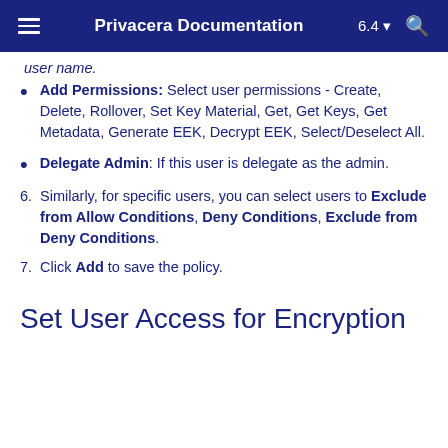Privacera Documentation 6.4
user name.
Add Permissions: Select user permissions - Create, Delete, Rollover, Set Key Material, Get, Get Keys, Get Metadata, Generate EEK, Decrypt EEK, Select/Deselect All.
Delegate Admin: If this user is delegate as the admin.
6. Similarly, for specific users, you can select users to Exclude from Allow Conditions, Deny Conditions, Exclude from Deny Conditions.
7. Click Add to save the policy.
Set User Access for Encryption